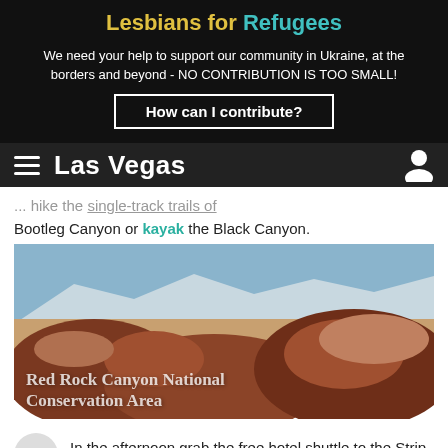Lesbians for Refugees
We need your help to support our community in Ukraine, at the borders and beyond - NO CONTRIBUTION IS TOO SMALL!
How can I contribute?
Las Vegas
... hike the single-track trails of Bootleg Canyon or kayak the Black Canyon.
[Figure (photo): Photo of Red Rock Canyon National Conservation Area showing red and orange rock formations against a blue sky]
Red Rock Canyon National Conservation Area
4  In the afternoon grab the free hotel shuttle to the Strip, and visit one of the city's many luxurious pool complexes. Try the Golden Nugget, one of the best in the area, with a three-story